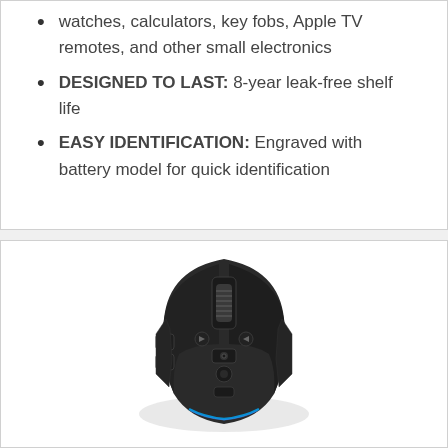watches, calculators, key fobs, Apple TV remotes, and other small electronics
DESIGNED TO LAST: 8-year leak-free shelf life
EASY IDENTIFICATION: Engraved with battery model for quick identification
[Figure (photo): Top-down view of a black gaming mouse (Logitech G502 style) with scroll wheel, side buttons, and RGB lighting accents visible.]